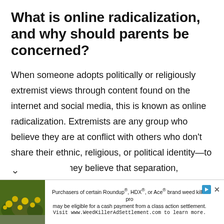What is online radicalization, and why should parents be concerned?
When someone adopts politically or religiously extremist views through content found on the internet and social media, this is known as online radicalization. Extremists are any group who believe they are at conflict with others who don't share their ethnic, religious, or political identity—to the point that they believe that separation, domination, or violence between groups is necessary.
[Figure (other): Advertisement banner at bottom of page. Contains a photo of yellow flowers on the left, and text about a class action settlement for Roundup, HDX, and Ace brand weed killers on the right.]